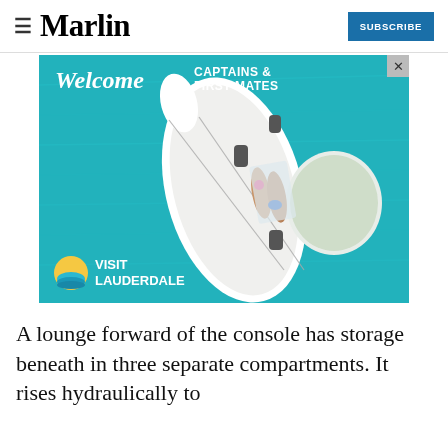≡  Marlin  SUBSCRIBE
[Figure (photo): Aerial photograph of a white sport yacht on turquoise water with two people sunbathing on the bow. Advertisement for Visit Lauderdale with text 'Welcome CAPTAINS & FIRST MATES' and Visit Lauderdale logo.]
A lounge forward of the console has storage beneath in three separate compartments. It rises hydraulically to